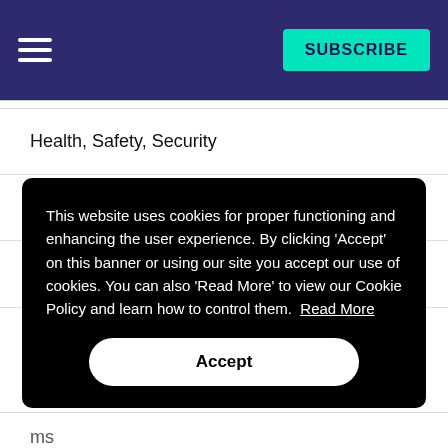SUBSCRIBE
Health, Safety, Security
Products
Sustainability & Energy Management
Te...
To...
Ut...
W...
This website uses cookies for proper functioning and enhancing the user experience. By clicking ‘Accept’ on this banner or using our site you accept our use of cookies. You can also ‘Read More’ to view our Cookie Policy and learn how to control them. Read More
Accept